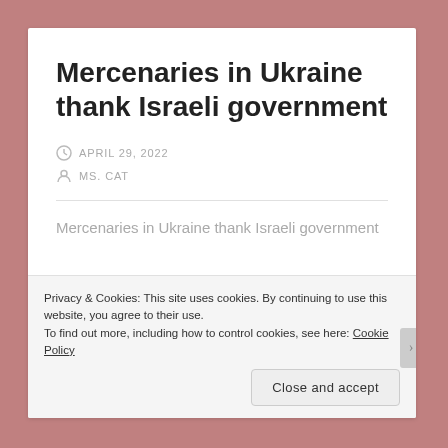Mercenaries in Ukraine thank Israeli government
APRIL 29, 2022
MS. CAT
Mercenaries in Ukraine thank Israeli government
Privacy & Cookies: This site uses cookies. By continuing to use this website, you agree to their use.
To find out more, including how to control cookies, see here: Cookie Policy